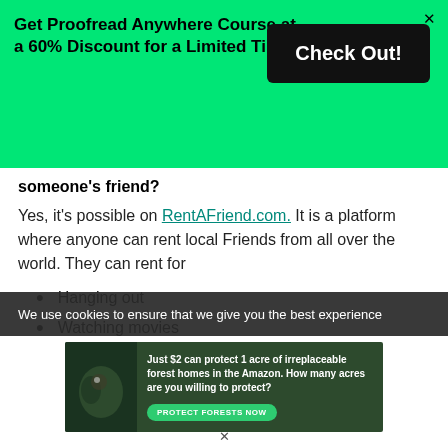Get Proofread Anywhere Course at a 60% Discount for a Limited Time!
someone's friend?
Yes, it's possible on RentAFriend.com. It is a platform where anyone can rent local Friends from all over the world. They can rent for
Hanging out
Watching movies
We use cookies to ensure that we give you the best experience
[Figure (infographic): Amazon forest conservation ad: Just $2 can protect 1 acre of irreplaceable forest homes in the Amazon. How many acres are you willing to protect? PROTECT FORESTS NOW button.]